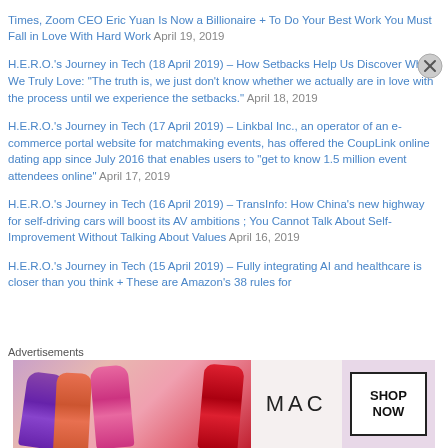Times, Zoom CEO Eric Yuan Is Now a Billionaire + To Do Your Best Work You Must Fall in Love With Hard Work April 19, 2019
H.E.R.O.'s Journey in Tech (18 April 2019) – How Setbacks Help Us Discover What We Truly Love: "The truth is, we just don't know whether we actually are in love with the process until we experience the setbacks." April 18, 2019
H.E.R.O.'s Journey in Tech (17 April 2019) – Linkbal Inc., an operator of an e-commerce portal website for matchmaking events, has offered the CoupLink online dating app since July 2016 that enables users to "get to know 1.5 million event attendees online" April 17, 2019
H.E.R.O.'s Journey in Tech (16 April 2019) – TransInfo: How China's new highway for self-driving cars will boost its AV ambitions ; You Cannot Talk About Self-Improvement Without Talking About Values April 16, 2019
H.E.R.O.'s Journey in Tech (15 April 2019) – Fully integrating AI and healthcare is closer than you think + These are Amazon's 38 rules for April 15, 2019
Advertisements
[Figure (photo): MAC cosmetics advertisement banner showing colorful lipsticks on the left, MAC brand name in the center, and a SHOP NOW button on the right]